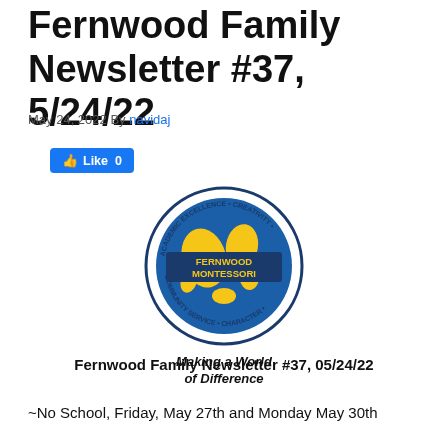Fernwood Family Newsletter #37, 5/24/22
May 24, 2022 By navidaj
[Figure (logo): Fernwood Montessori school logo — circular emblem with globe, text 'FERNWOOD MONTESSORI' in center band, surrounding text 'ACADEMIC EXCELLENCE • CREATIVITY • CHARACTER • COMMUNITY SERVICE', tagline 'Making a World of Difference']
Fernwood Family Newsletter #37, 05/24/22
~No School, Friday, May 27th and Monday May 30th